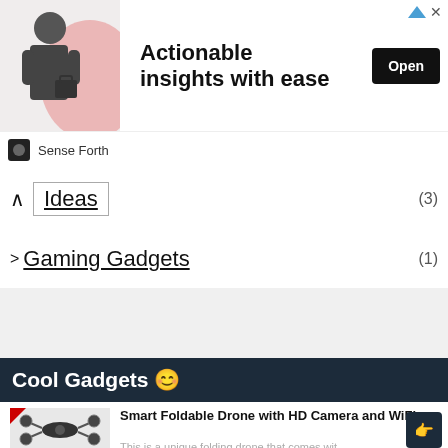[Figure (screenshot): Advertisement banner: image of businessman with text 'NEW YORK, LONDON OR SINGAPORE.' and headline 'Actionable insights with ease' with an Open button. Brand: Sense Forth]
Ideas (3)
Gaming Gadgets (1)
Cool Gadgets 😊
Smart Foldable Drone with HD Camera and WiFi
This is a unique folding drone that comes with dual-camera and WiFi enable technology. The drone is lightweight and easy to ope...
Best Wireless Bluetooth headset for Calling